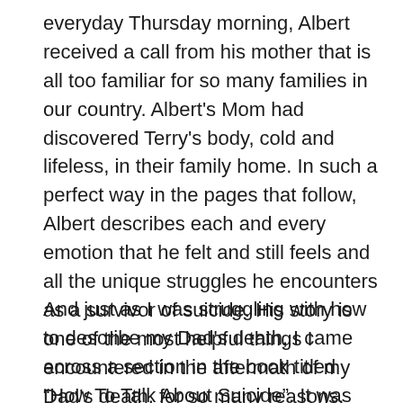everyday Thursday morning, Albert received a call from his mother that is all too familiar for so many families in our country. Albert's Mom had discovered Terry's body, cold and lifeless, in their family home. In such a perfect way in the pages that follow, Albert describes each and every emotion that he felt and still feels and all the unique struggles he encounters as a survivor of suicide. His story is one of the most helpful things I encountered in the aftermath of my Dad's death, for so many reasons.
And just as I was struggling with how to describe my Dad's death, I came across a section in the book titled “How To Talk About Suicide”. It was like